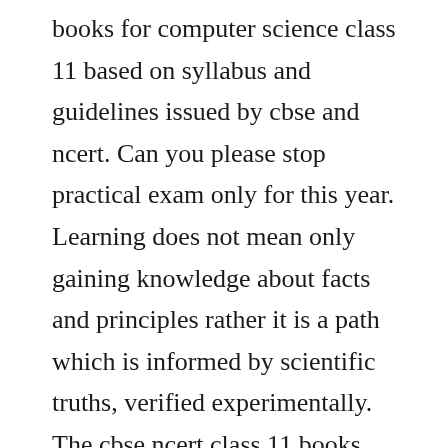books for computer science class 11 based on syllabus and guidelines issued by cbse and ncert. Can you please stop practical exam only for this year. Learning does not mean only gaining knowledge about facts and principles rather it is a path which is informed by scientific truths, verified experimentally. The cbse ncert class 11 books free pdf download not only gives students access to content created by the body which advises the government on educational matters, but also the material from which questions of the